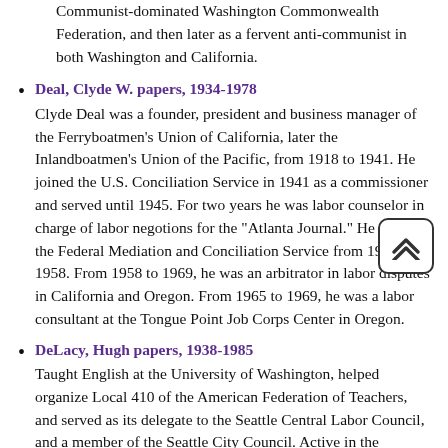Communist-dominated Washington Commonwealth Federation, and then later as a fervent anti-communist in both Washington and California.
Deal, Clyde W. papers, 1934-1978
Clyde Deal was a founder, president and business manager of the Ferryboatmen's Union of California, later the Inlandboatmen's Union of the Pacific, from 1918 to 1941. He joined the U.S. Conciliation Service in 1941 as a commissioner and served until 1945. For two years he was labor counselor in charge of labor negotions for the "Atlanta Journal." He rejoined the Federal Mediation and Conciliation Service from 1948 to 1958. From 1958 to 1969, he was an arbitrator in labor disputes in California and Oregon. From 1965 to 1969, he was a labor consultant at the Tongue Point Job Corps Center in Oregon.
DeLacy, Hugh papers, 1938-1985
Taught English at the University of Washington, helped organize Local 410 of the American Federation of Teachers, and served as its delegate to the Seattle Central Labor Council, and a member of the Seattle City Council. Active in the Democratic Party and the Washington Commonwealth Federation. During World War II, worked as machinist in the shipyards. Congressman for the first district during the 79th